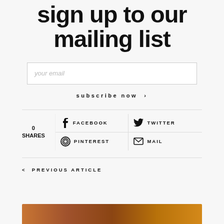sign up to our mailing list
your email
subscribe now >
0
SHARES
FACEBOOK
TWITTER
PINTEREST
MAIL
< PREVIOUS ARTICLE
[Figure (photo): Partial photo strip visible at the bottom of the page, appears to be a warm-toned food or nature photograph]